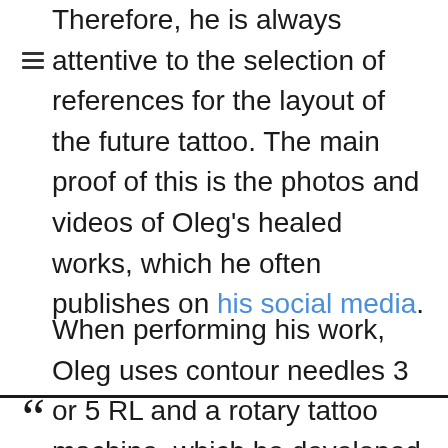Therefore, he is always attentive to the selection of references for the layout of the future tattoo. The main proof of this is the photos and videos of Oleg's healed works, which he often publishes on his social media.
When performing his work, Oleg uses contour needles 3 or 5 RL and a rotary tattoo machine, which he developed independently.